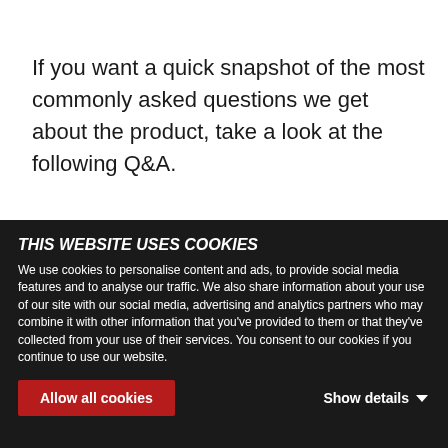If you want a quick snapshot of the most commonly asked questions we get about the product, take a look at the following Q&A.
Q: Do you need to remove existing coatings, waxes, or sealants before applying?
A: No. The product will enhance any existing base
THIS WEBSITE USES COOKIES
We use cookies to personalise content and ads, to provide social media features and to analyse our traffic. We also share information about your use of our site with our social media, advertising and analytics partners who may combine it with other information that you've provided to them or that they've collected from your use of their services. You consent to our cookies if you continue to use our website.
Allow all cookies
Show details